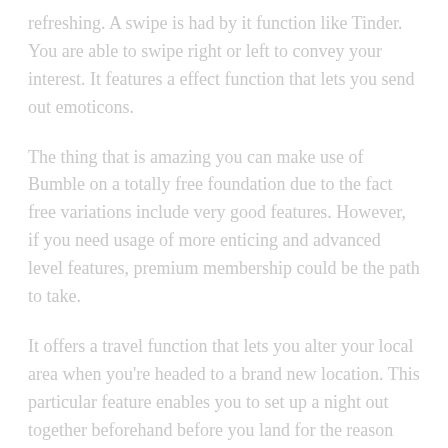refreshing. A swipe is had by it function like Tinder. You are able to swipe right or left to convey your interest. It features a effect function that lets you send out emoticons.
The thing that is amazing you can make use of Bumble on a totally free foundation due to the fact free variations include very good features. However, if you need usage of more enticing and advanced level features, premium membership could be the path to take.
It offers a travel function that lets you alter your local area when you're headed to a brand new location. This particular feature enables you to set up a night out together beforehand before you land for the reason that town.
Along side a number of other things that are great it comes down utilizing the features like Bumble Bizz and Bumble Bff as this application is not only meant to dating. The